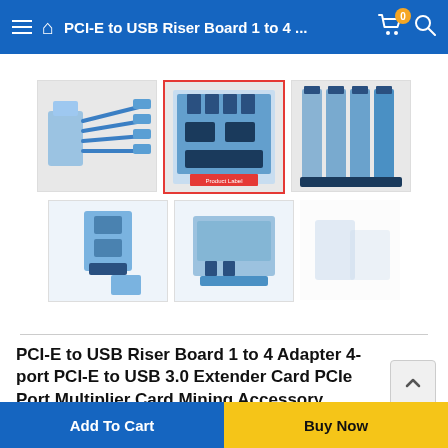PCI-E to USB Riser Board 1 to 4 ...
[Figure (photo): Product images showing PCI-E to USB riser board adapter from multiple angles: cables view, board with 4 USB ports, vertical rack configuration, close-up of board components, standalone card front and back views]
PCI-E to USB Riser Board 1 to 4 Adapter 4-port PCI-E to USB 3.0 Extender Card PCIe Port Multiplier Card Mining Accessory